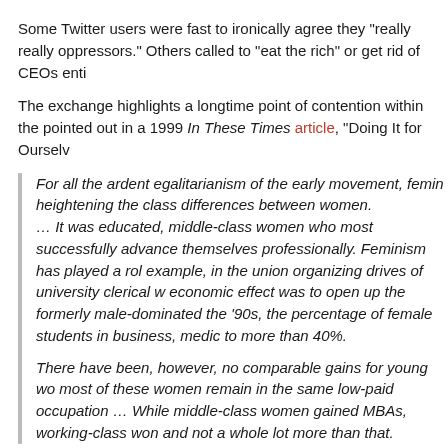Some Twitter users were fast to ironically agree they "really really oppressors." Others called to "eat the rich" or get rid of CEOs enti
The exchange highlights a longtime point of contention within the pointed out in a 1999 In These Times article, "Doing It for Ourselv
For all the ardent egalitarianism of the early movement, femin heightening the class differences between women.
... It was educated, middle-class women who most successfully advance themselves professionally. Feminism has played a rol example, in the union organizing drives of university clerical w economic effect was to open up the formerly male-dominated the '90s, the percentage of female students in business, medic to more than 40%.

There have been, however, no comparable gains for young wo most of these women remain in the same low-paid occupation ... While middle-class women gained MBAs, working-class won and not a whole lot more than that.
The class concerns that Ehrenreich observes in 1999 would be, by feminism," taken from the title of Sheryl Sandberg's bestselling, p Work, and the Will to Lead.